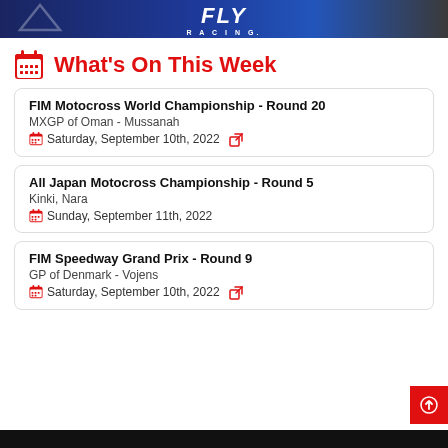[Figure (illustration): Banner advertisement for Fly Racing with dark blue background and white Fly Racing logo with text 'RACING.']
What's On This Week
FIM Motocross World Championship - Round 20
MXGP of Oman - Mussanah
Saturday, September 10th, 2022
All Japan Motocross Championship - Round 5
Kinki, Nara
Sunday, September 11th, 2022
FIM Speedway Grand Prix - Round 9
GP of Denmark - Vojens
Saturday, September 10th, 2022